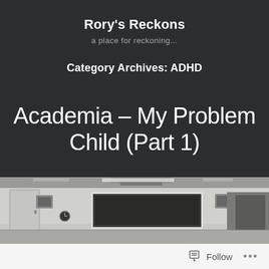Rory's Reckons
a place for reckoning...
Category Archives: ADHD
Academia – My Problem Child (Part 1)
[Figure (photo): Interior of a classroom or lecture room showing a whiteboard/projection screen on the wall, ceiling-mounted equipment, small clock on the wall, and white walls. Black and white/desaturated photo.]
Follow ...